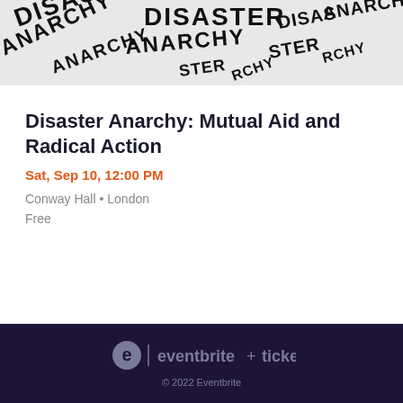[Figure (photo): Black and white image with overlapping words DISASTER and ANARCHY printed multiple times at various angles on a light background]
Disaster Anarchy: Mutual Aid and Radical Action
Sat, Sep 10, 12:00 PM
Conway Hall • London
Free
© 2022 Eventbrite